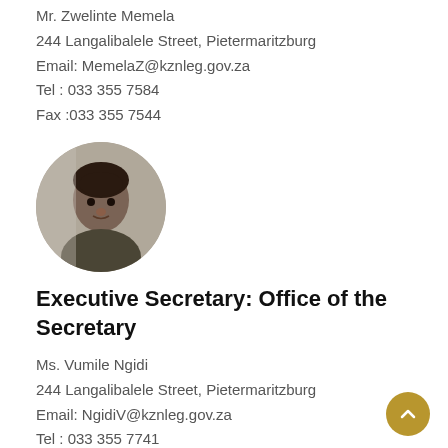Mr. Zwelinte Memela
244 Langalibalele Street, Pietermaritzburg
Email: MemelaZ@kznleg.gov.za
Tel : 033 355 7584
Fax :033 355 7544
[Figure (photo): Circular portrait photo of a woman against a neutral background]
Executive Secretary: Office of the Secretary
Ms. Vumile Ngidi
244 Langalibalele Street, Pietermaritzburg
Email: NgidiV@kznleg.gov.za
Tel : 033 355 7741
Fax :033 355 7544